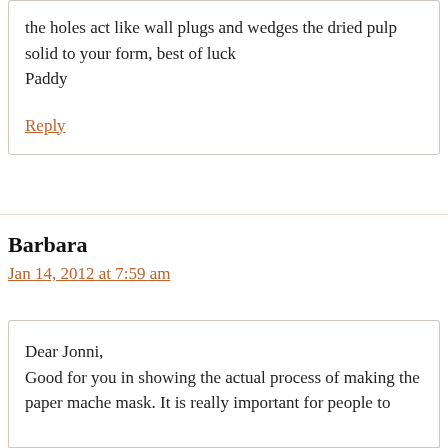the holes act like wall plugs and wedges the dried pulp solid to your form, best of luck
Paddy
Reply
Barbara
Jan 14, 2012 at 7:59 am
Dear Jonni,
Good for you in showing the actual process of making the paper mache mask. It is really important for people to